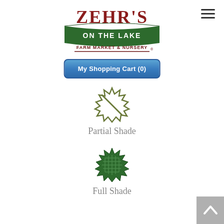[Figure (logo): Zehr's On The Lake Farm Market & Nursery logo — red stylized text 'ZEHR'S' at top, green banner with 'ON THE LAKE', and maroon subtitle 'FARM MARKET & NURSERY']
[Figure (other): Hamburger menu icon (three horizontal lines) in top right corner]
[Figure (other): Blue rounded 'My Shopping Cart (0)' button]
[Figure (illustration): Partial shade icon: sun-burst/starburst shape outline with a diagonal line through it, in dark olive/grey-green color]
Partial Shade
[Figure (illustration): Full shade icon: sun-burst/starburst shape filled with a grid pattern, in dark green color]
Full Shade
[Figure (other): Back to top button — grey square with white upward chevron arrow, bottom right corner]